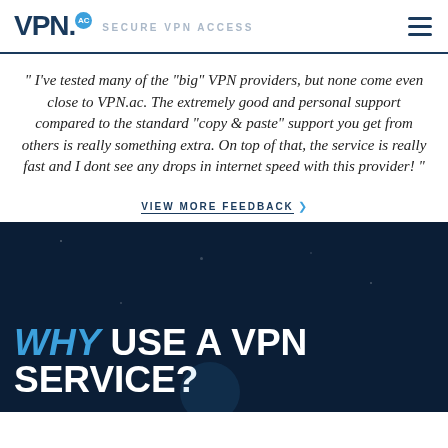VPN.AC SECURE VPN ACCESS
" I've tested many of the "big" VPN providers, but none come even close to VPN.ac. The extremely good and personal support compared to the standard "copy & paste" support you get from others is really something extra. On top of that, the service is really fast and I dont see any drops in internet speed with this provider! "
VIEW MORE FEEDBACK
WHY USE A VPN SERVICE?